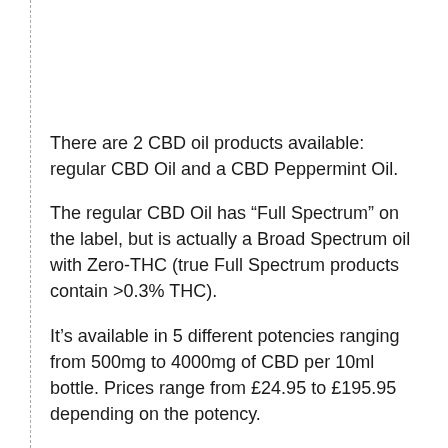There are 2 CBD oil products available: regular CBD Oil and a CBD Peppermint Oil.
The regular CBD Oil has “Full Spectrum” on the label, but is actually a Broad Spectrum oil with Zero-THC (true Full Spectrum products contain >0.3% THC).
It’s available in 5 different potencies ranging from 500mg to 4000mg of CBD per 10ml bottle. Prices range from £24.95 to £195.95 depending on the potency.
Faye says this product helped her dog with anxiety issues: